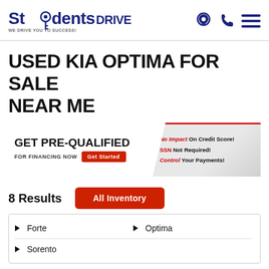StudentsDrive — WE DRIVE YOU TO SUCCESS!
USED KIA OPTIMA FOR SALE NEAR ME
[Figure (infographic): GET PRE-QUALIFIED FOR FINANCING NOW — Get Started button. Right side: No Impact On Credit Score! SSN Not Required! Control Your Payments!]
8 Results
All Inventory
Forte
Optima
Sorento
[Figure (photo): Bottom partial photo of a car interior/exterior]